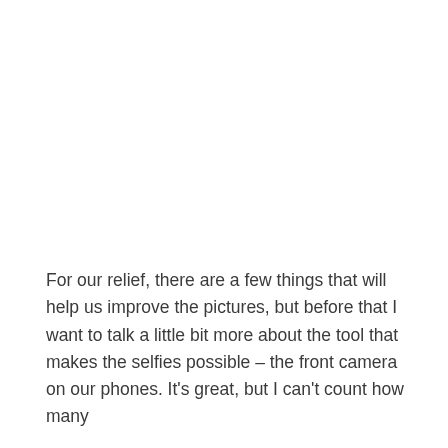For our relief, there are a few things that will help us improve the pictures, but before that I want to talk a little bit more about the tool that makes the selfies possible – the front camera on our phones. It's great, but I can't count how many